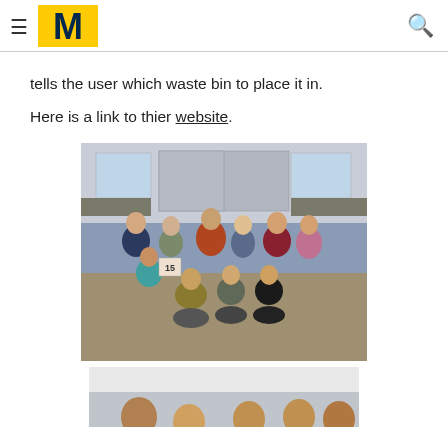University of Michigan navigation header with hamburger menu, block M logo, and search icon
tells the user which waste bin to place it in.
Here is a link to thier website.
[Figure (photo): Group photo of approximately 10 people standing and kneeling in a computer lab classroom setting. One person is holding a sign/poster with the number 15 on it.]
[Figure (photo): Partial group photo showing several people from the waist up, appears to be a similar event or setting.]